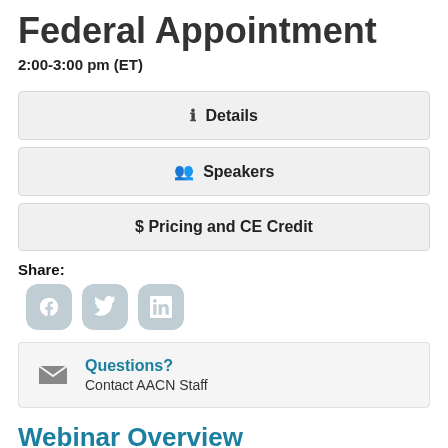Federal Appointment
2:00-3:00 pm (ET)
i Details
Speakers
$ Pricing and CE Credit
Share:
[Figure (other): Social media sharing icons: Facebook, Twitter, LinkedIn]
Questions?
Contact AACN Staff
Webinar Overview